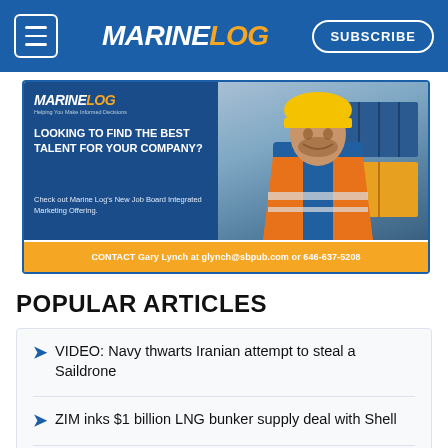MARINELOG
[Figure (infographic): Marine Log job board advertisement showing a worker in orange safety vest and yellow hard hat. Text: LOOKING TO FIND THE BEST TALENT FOR YOUR COMPANY? Check out Marine Log's New Job Board Integrated Marketing Offering. CONTACT Gary Lynch at glynch@sbpub.com or 646-637-5208]
POPULAR ARTICLES
VIDEO: Navy thwarts Iranian attempt to steal a Saildrone
ZIM inks $1 billion LNG bunker supply deal with Shell
World's largest aluminum cat will have